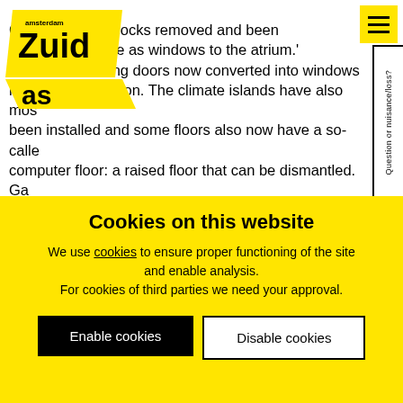[Figure (logo): Amsterdam Zuidas logo - yellow angular logo with 'amsterdam', 'Zuid', and arrow element]
Gal... locks removed and been repainted. The ... re as windows to the atrium.' Most of the sliding doors now converted into windows in their new position. The climate islands have also most been installed and some floors also now have a so-called computer floor: a raised floor that can be dismantled. Ga... 'There are still several storeys to go. We actually need fi... trucks just to deliver the panels for the computer floor. I...
Cookies on this website
We use cookies to ensure proper functioning of the site and enable analysis.
For cookies of third parties we need your approval.
Enable cookies
Disable cookies